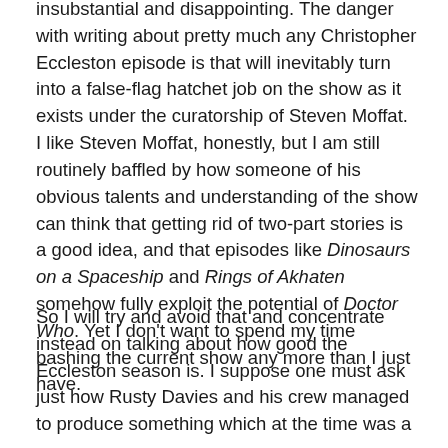insubstantial and disappointing. The danger with writing about pretty much any Christopher Eccleston episode is that will inevitably turn into a false-flag hatchet job on the show as it exists under the curatorship of Steven Moffat. I like Steven Moffat, honestly, but I am still routinely baffled by how someone of his obvious talents and understanding of the show can think that getting rid of two-part stories is a good idea, and that episodes like Dinosaurs on a Spaceship and Rings of Akhaten somehow fully exploit the potential of Doctor Who. Yet I don't want to spend my time bashing the current show any more than I just have.
So I will try and avoid that and concentrate instead on talking about how good the Eccleston season is. I suppose one must ask just how Rusty Davies and his crew managed to produce something which at the time was a